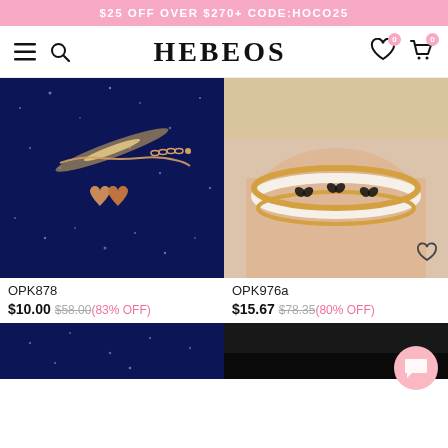$25 OFF OVER $270+ CODE:HOCO25
HEBEOS
[Figure (photo): Rose gold double heart bracelet on dark blue glitter background]
OPK878
$10.00 $58.00(83% OFF)
[Figure (photo): Gold butterfly bangle bracelet on woman's wrist]
OPK976a
$15.67 $78.35(80% OFF)
[Figure (photo): Partial view of another bracelet product on dark blue background]
[Figure (photo): Partial view of another bracelet product on dark background]